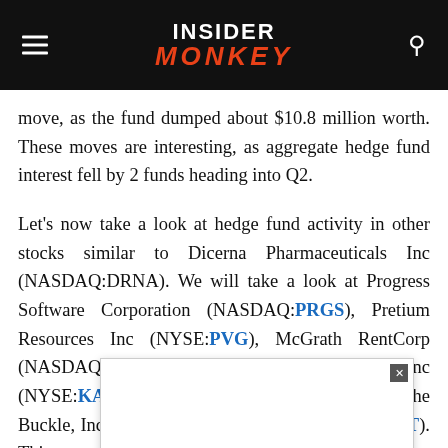INSIDER MONKEY
move, as the fund dumped about $10.8 million worth. These moves are interesting, as aggregate hedge fund interest fell by 2 funds heading into Q2.
Let's now take a look at hedge fund activity in other stocks similar to Dicerna Pharmaceuticals Inc (NASDAQ:DRNA). We will take a look at Progress Software Corporation (NASDAQ:PRGS), Pretium Resources Inc (NYSE:PVG), McGrath RentCorp (NASDAQ:MGRC), KAR Auction Services Inc (NYSE:KAR), Gevo, Inc. (NASDAQ:GEVO), The Buckle, Inc. ... (RFT). This ... r to